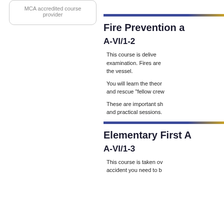[Figure (other): MCA accredited course provider badge/box with rounded border]
Fire Prevention a
A-VI/1-2
This course is delivered with examination. Fires are the vessel.
You will learn the theory and rescue "fellow crew"
These are important skills and practical sessions.
Elementary First A
A-VI/1-3
This course is taken over accident you need to b